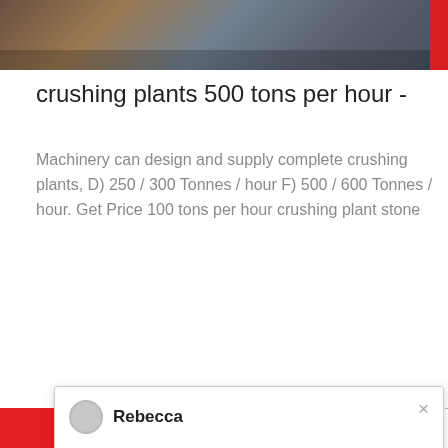[Figure (photo): Partial view of industrial machinery/equipment at top of page]
crushing plants 500 tons per hour -
Machinery can design and supply complete crushing plants, D) 250 / 300 Tonnes / hour F) 500 / 600 Tonnes / hour. Get Price 100 tons per hour crushing plant stone
Rebecca
Welcome to Liming Heavy Industry! Now our on-line service is chatting with you! Please choose the language :
[Figure (photo): Crushing plant facility with towers and conveyor belts against cloudy sky]
[Figure (photo): Customer service agent woman wearing headset with badge showing number 1]
Need questions & suggestion?
Chat Now
Chat Online
Enquire